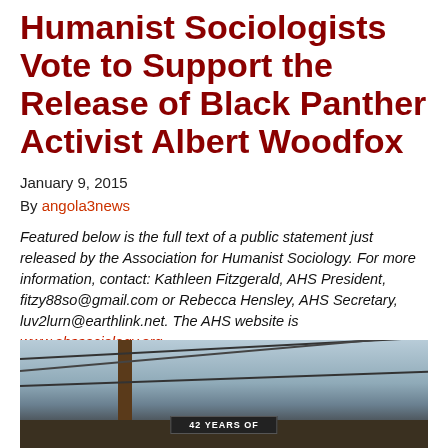Humanist Sociologists Vote to Support the Release of Black Panther Activist Albert Woodfox
January 9, 2015
By angola3news
Featured below is the full text of a public statement just released by the Association for Humanist Sociology. For more information, contact: Kathleen Fitzgerald, AHS President, fitzy88so@gmail.com or Rebecca Hensley, AHS Secretary, luv2lurn@earthlink.net. The AHS website is www.ahssociology.org.
[Figure (photo): Street-level photo showing a utility pole with power lines and a sign partially visible reading '42 YEARS OF']